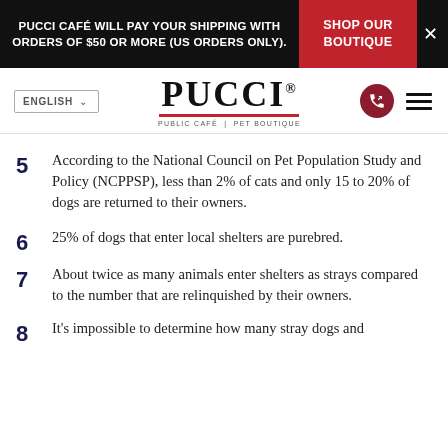PUCCI CAFÉ WILL PAY YOUR SHIPPING WITH ORDERS OF $50 OR MORE (US ORDERS ONLY). | SHOP OUR BOUTIQUE
[Figure (logo): PUCCI PUBLIC CAFÉ | PET BOUTIQUE logo with red underline]
5 According to the National Council on Pet Population Study and Policy (NCPPSP), less than 2% of cats and only 15 to 20% of dogs are returned to their owners.
6 25% of dogs that enter local shelters are purebred.
7 About twice as many animals enter shelters as strays compared to the number that are relinquished by their owners.
8 It's impossible to determine how many stray dogs and...